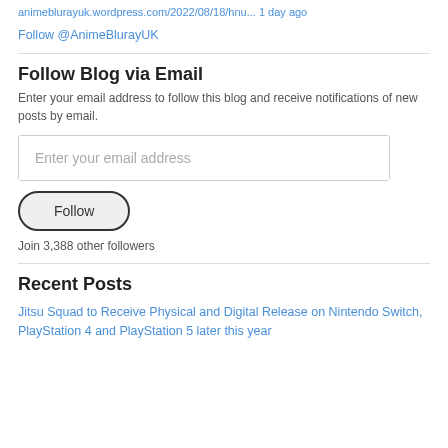animeblurayuk.wordpress.com/2022/08/18/hnu... 1 day ago
Follow @AnimeBlurayUK
Follow Blog via Email
Enter your email address to follow this blog and receive notifications of new posts by email.
Enter your email address
Follow
Join 3,388 other followers
Recent Posts
Jitsu Squad to Receive Physical and Digital Release on Nintendo Switch, PlayStation 4 and PlayStation 5 later this year